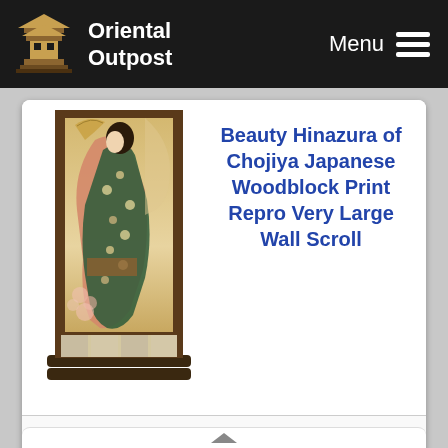Oriental Outpost — Menu
[Figure (photo): Japanese wall scroll depicting Beauty Hinazura of Chojiya, a woodblock print reproduction featuring a geisha figure in elaborate kimono with floral background, mounted as a very large wall scroll with dark brown silk border and wooden dowels]
Beauty Hinazura of Chojiya Japanese Woodblock Print Repro Very Large Wall Scroll
Gallery Price: $126.00
Your Price: $69.88
More Info